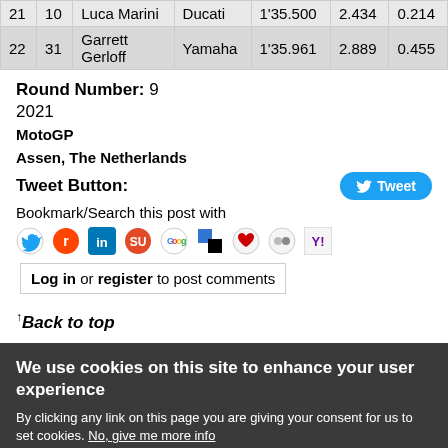| Pos | No | Rider | Bike | Time | Gap | Int |
| --- | --- | --- | --- | --- | --- | --- |
| 21 | 10 | Luca Marini | Ducati | 1'35.500 | 2.434 | 0.214 |
| 22 | 31 | Garrett Gerloff | Yamaha | 1'35.961 | 2.889 | 0.455 |
Round Number: 9
2021
MotoGP
Assen, The Netherlands
Tweet Button:
Bookmark/Search this post with
[Figure (screenshot): Social sharing icons: Twitter, Reddit, LinkedIn, StumbleUpon, Google, Delicious, Favorites, MySpace, Yahoo]
Log in or register to post comments
↑Back to top
We use cookies on this site to enhance your user experience
By clicking any link on this page you are giving your consent for us to set cookies. No, give me more info
OK, I agree